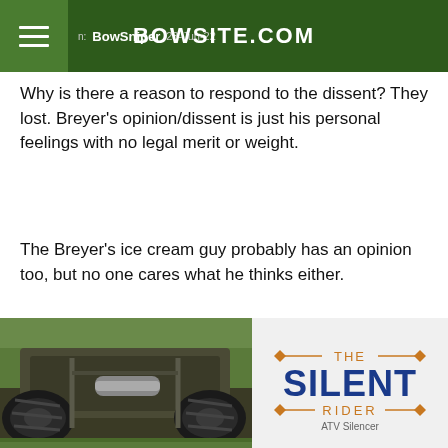BowSniper  23-Jun-22  BOWSITE.COM
Why is there a reason to respond to the dissent? They lost. Breyer's opinion/dissent is just his personal feelings with no legal merit or weight.
The Breyer's ice cream guy probably has an opinion too, but no one cares what he thinks either.
From:  Lawdog  23-Jun-22
Just a historical perspective. The framers originally did not feel
[Figure (photo): Underside view of an ATV with large mud tires visible, taken from low angle on grass]
[Figure (logo): THE SILENT RIDER ATV Silencer logo with orange and blue text]